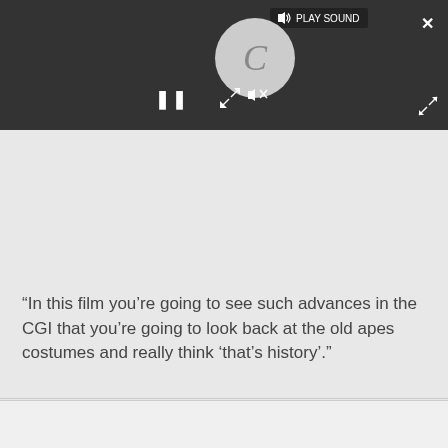[Figure (screenshot): A video player interface with dark gray background. Shows a circular loading/replay icon with the letter C, a pause button (||), a mute icon with X, resize/expand arrows, a 'PLAY SOUND' tooltip near the top, and an X (close) button in the top right corner.]
“In this film you’re going to see such advances in the CGI that you’re going to look back at the old apes costumes and really think ‘that’s history’.”